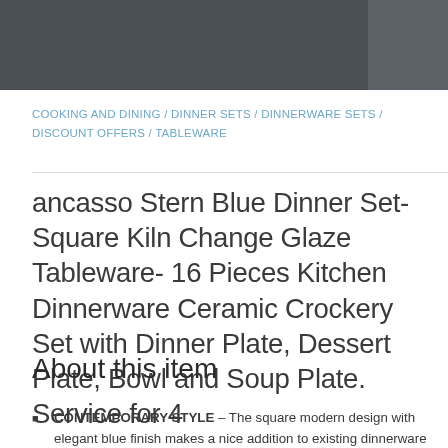COOKING AND DINING / DINNER SETS / DINNERWARE SETS / DISCOUNT OFFERS / TABLEWARE
ancasso Stern Blue Dinner Set- Square Kiln Change Glaze Tableware- 16 Pieces Kitchen Dinnerware Ceramic Crockery Set with Dinner Plate, Dessert Plate, Bowl and Soup Plate. Service for 4
About this item
CONTEMPORARY STYLE – The square modern design with elegant blue finish makes a nice addition to existing dinnerware pieces; Crafted by kiln change glaze, the starry blue gradually